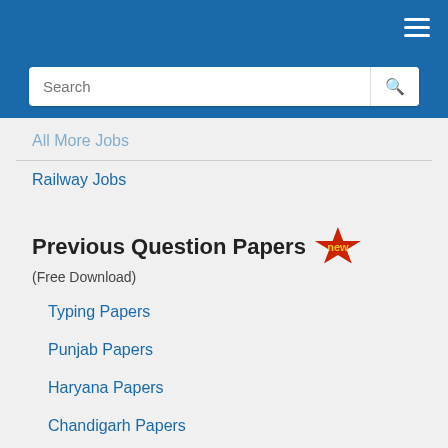[Figure (screenshot): Blue header bar with hamburger menu icon and search bar]
All more Jobs (faded/truncated)
Railway Jobs
Previous Question Papers (Free Download)
Typing Papers
Punjab Papers
Haryana Papers
Chandigarh Papers
Others Papers
Engineering Papers
All India Papers